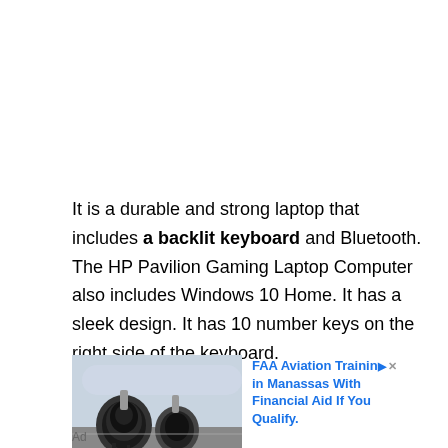It is a durable and strong laptop that includes a backlit keyboard and Bluetooth. The HP Pavilion Gaming Laptop Computer also includes Windows 10 Home. It has a sleek design. It has 10 number keys on the right side of the keyboard.
[Figure (photo): Advertisement photo showing airplane jet engines on a tarmac]
FAA Aviation Training in Manassas With Financial Aid If You Qualify.
Ad